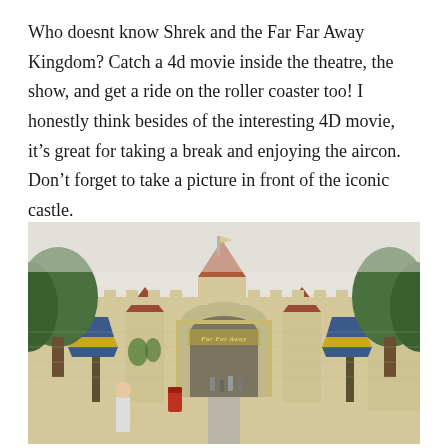Who doesnt know Shrek and the Far Far Away Kingdom? Catch a 4d movie inside the theatre, the show, and get a ride on the roller coaster too! I honestly think besides of the interesting 4D movie, it’s great for taking a break and enjoying the aircon. Don’t forget to take a picture in front of the iconic castle.
[Figure (photo): Photo of the Far Far Away Kingdom castle entrance at Universal Studios, showing a grand cream-colored castle gateway with ornate arch, turrets with red roofs, decorative blue and yellow striped lamp posts on either side, lush green trees, visitors walking through, and a red post box near the left side.]